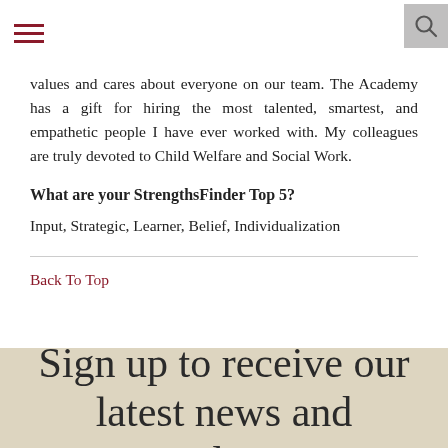navigation bar with hamburger menu and search icon
values and cares about everyone on our team. The Academy has a gift for hiring the most talented, smartest, and empathetic people I have ever worked with. My colleagues are truly devoted to Child Welfare and Social Work.
What are your StrengthsFinder Top 5?
Input, Strategic, Learner, Belief, Individualization
Back To Top
Sign up to receive our latest news and updates